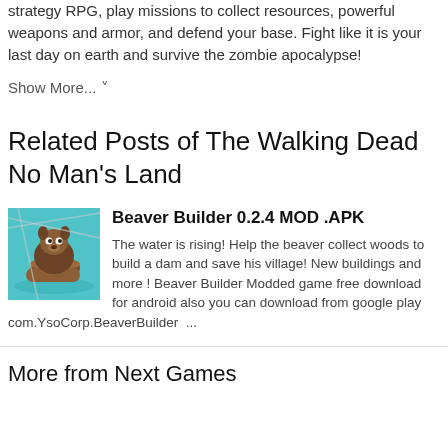strategy RPG, play missions to collect resources, powerful weapons and armor, and defend your base. Fight like it is your last day on earth and survive the zombie apocalypse!
Show More... ˅
Related Posts of The Walking Dead No Man's Land
[Figure (illustration): Beaver Builder game icon showing a cartoon beaver on blue water carrying logs]
Beaver Builder 0.2.4 MOD .APK
The water is rising! Help the beaver collect woods to build a dam and save his village! New buildings and more ! Beaver Builder Modded game free download for android also you can download from google play com.YsoCorp.BeaverBuilder  ...
More from Next Games